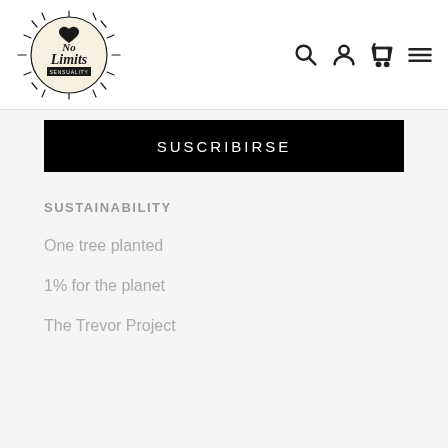[Figure (logo): No Limits Sensuality brand logo with decorative sun rays and heart]
Navigation icons: search, account, cart, menu
SUSCRIBIRSE
SUSTAINABILITY
One tree planted
1% for the planet
The Trevor Project